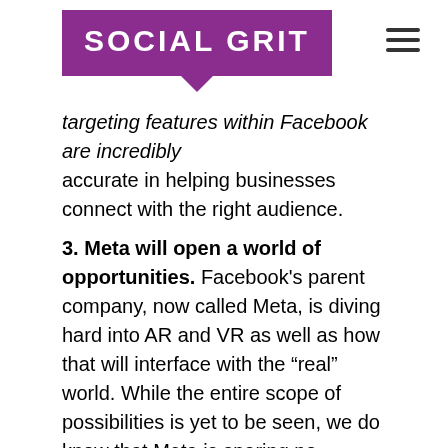SOCIAL GRIT
targeting features within Facebook are incredibly accurate in helping businesses connect with the right audience.
3. Meta will open a world of opportunities. Facebook's parent company, now called Meta, is diving hard into AR and VR as well as how that will interface with the “real” world. While the entire scope of possibilities is yet to be seen, we do know that Meta is sparing no expense in making this happen. You can be certain that it’ll open doors for businesses, especially early adopters.
4. Analytics. Data is everything. There’s a wealth of knowledge to be gained by the built-in analytics within the platform. Is your target audience really your audience? Which content is actually connecting and